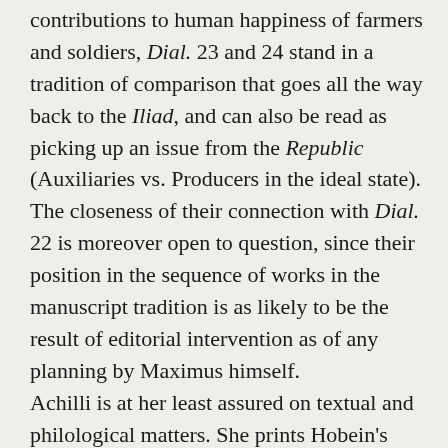contributions to human happiness of farmers and soldiers, Dial. 23 and 24 stand in a tradition of comparison that goes all the way back to the Iliad, and can also be read as picking up an issue from the Republic (Auxiliaries vs. Producers in the ideal state). The closeness of their connection with Dial. 22 is moreover open to question, since their position in the sequence of works in the manuscript tradition is as likely to be the result of editorial intervention as of any planning by Maximus himself.
Achilli is at her least assured on textual and philological matters. She prints Hobein's outdated and excessively conservative 1910 Teubner text, without an apparatus criticus and without line numbers (which makes locating passages cited in her main text unnecessarily